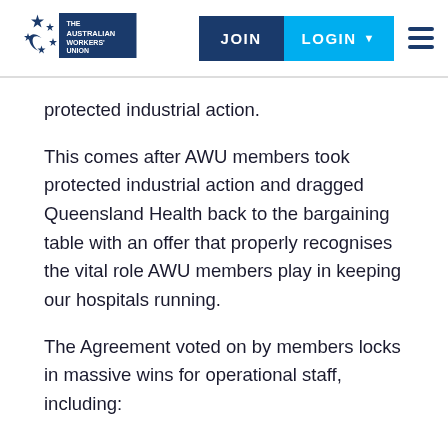The Australian Workers' Union — JOIN | LOGIN
protected industrial action.
This comes after AWU members took protected industrial action and dragged Queensland Health back to the bargaining table with an offer that properly recognises the vital role AWU members play in keeping our hospitals running.
The Agreement voted on by members locks in massive wins for operational staff, including: